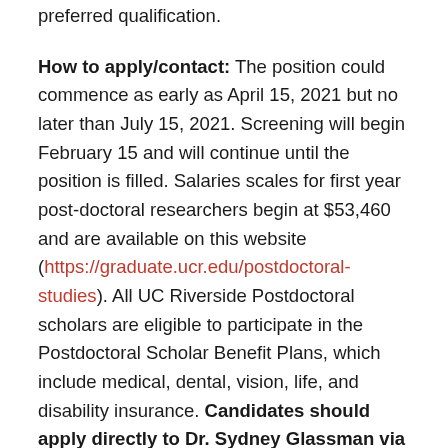preferred qualification.
How to apply/contact: The position could commence as early as April 15, 2021 but no later than July 15, 2021. Screening will begin February 15 and will continue until the position is filled. Salaries scales for first year post-doctoral researchers begin at $53,460 and are available on this website (https://graduate.ucr.edu/postdoctoral-studies). All UC Riverside Postdoctoral scholars are eligible to participate in the Postdoctoral Scholar Benefit Plans, which include medical, dental, vision, life, and disability insurance. Candidates should apply directly to Dr. Sydney Glassman via email to sydneyg@ucr.edu by submitting a single PDF file